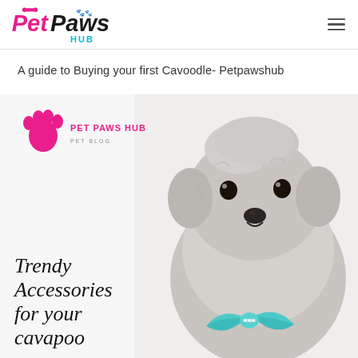Pet Paws Hub logo and navigation
A guide to Buying your first Cavoodle- Petpawshub
[Figure (photo): Promotional image for Pet Paws Hub showing a fluffy grey cavapoo/cavoodle dog wearing a teal bow tie/accessory, with overlaid text reading 'Trendy Accessories for your cavapoo' and the Pet Paws Hub pet blog logo (pink paw print).]